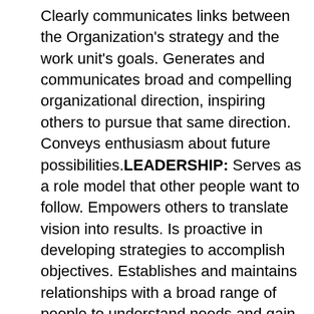Clearly communicates links between the Organization's strategy and the work unit's goals. Generates and communicates broad and compelling organizational direction, inspiring others to pursue that same direction. Conveys enthusiasm about future possibilities.LEADERSHIP: Serves as a role model that other people want to follow. Empowers others to translate vision into results. Is proactive in developing strategies to accomplish objectives. Establishes and maintains relationships with a broad range of people to understand needs and gain support. Anticipates and resolves conflicts by pursuing mutually agreeable solutions. Drives for change and improvement; does not accept the status quo. Shows the courage to take unpopular stands. Provides leadership and takes responsibility for incorporating gender perspectives and ensuring the equal participation of women and men in all areas of work; demonstrates knowledge of strategies and commitment to the goal of gender balance in